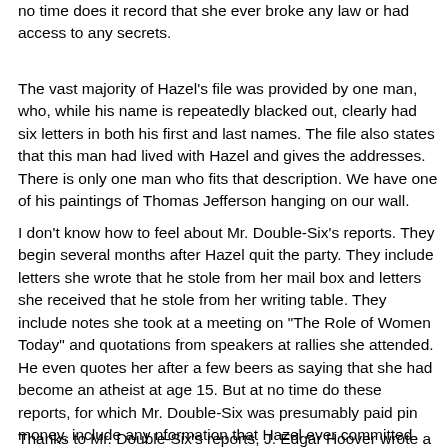no time does it record that she ever broke any law or had access to any secrets.
The vast majority of Hazel's file was provided by one man, who, while his name is repeatedly blacked out, clearly had six letters in both his first and last names. The file also states that this man had lived with Hazel and gives the addresses. There is only one man who fits that description. We have one of his paintings of Thomas Jefferson hanging on our wall.
I don't know how to feel about Mr. Double-Six's reports. They begin several months after Hazel quit the party. They include letters she wrote that he stole from her mail box and letters she received that he stole from her writing table. They include notes she took at a meeting on "The Role of Women Today" and quotations from speakers at rallies she attended. He even quotes her after a few beers as saying that she had become an atheist at age 15. But at no time do these reports, for which Mr. Double-Six was presumably paid pin money, include any nformation that Hazel ever committed any crime or even said anything hostile about any law. He even quotes her arguing in favor of a trade bill passed by Congress.
Thanks to Mr. Double-Six's reports, J. Edgar Hoover wrote a